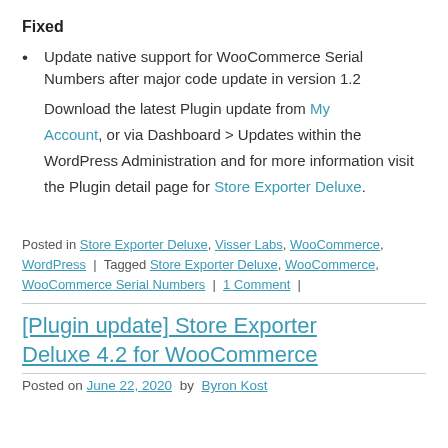Fixed
Update native support for WooCommerce Serial Numbers after major code update in version 1.2
Download the latest Plugin update from My Account, or via Dashboard > Updates within the WordPress Administration and for more information visit the Plugin detail page for Store Exporter Deluxe.
Posted in Store Exporter Deluxe, Visser Labs, WooCommerce, WordPress | Tagged Store Exporter Deluxe, WooCommerce, WooCommerce Serial Numbers | 1 Comment |
[Plugin update] Store Exporter Deluxe 4.2 for WooCommerce
Posted on June 22, 2020  by  Byron Kost